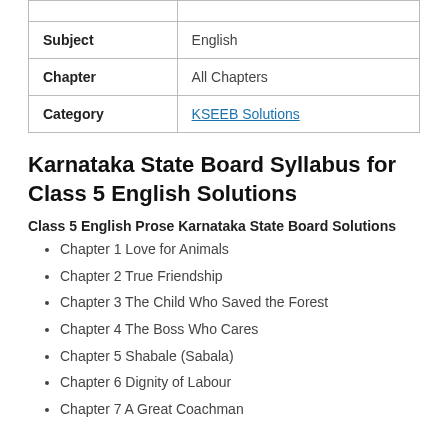|  |  |
| --- | --- |
| Subject | English |
| Chapter | All Chapters |
| Category | KSEEB Solutions |
Karnataka State Board Syllabus for Class 5 English Solutions
Class 5 English Prose Karnataka State Board Solutions
Chapter 1 Love for Animals
Chapter 2 True Friendship
Chapter 3 The Child Who Saved the Forest
Chapter 4 The Boss Who Cares
Chapter 5 Shabale (Sabala)
Chapter 6 Dignity of Labour
Chapter 7 A Great Coachman